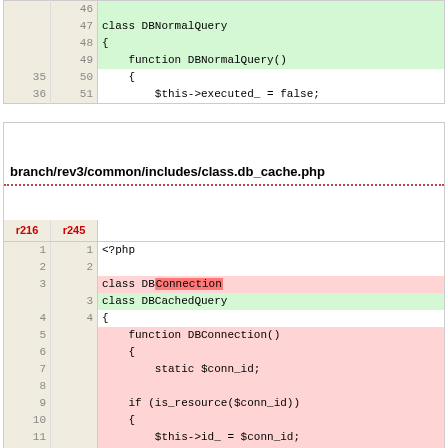| old | new | code |
| --- | --- | --- |
|  | 46 |  |
|  | 47 | class DBNormalQuery |
|  | 48 | { |
|  | 49 |     function DBNormalQuery() |
| 35 | 50 |     { |
| 36 | 51 |         $this->executed_ = false; |
branch/rev3/common/includes/class.db_cache.php
| r216 | r245 |  |
| --- | --- | --- |
| 1 | 1 | <?php |
| 2 | 2 |  |
| 3 |  | class DBConnection |
|  | 3 | class DBCachedQuery |
| 4 | 4 | { |
| 5 |  |     function DBConnection() |
| 6 |  |     { |
| 7 |  |         static $conn_id; |
| 8 |  |  |
| 9 |  |     if (is_resource($conn_id)) |
| 10 |  |     { |
| 11 |  |         $this->id_ = $conn_id; |
| 12 |  |         return; |
| 13 |  |     } |
| 14 |  |     if (!$this->id_ = mysql_connect(DB_HOST, DB_USER, DB_PASS)) |
| 15 |  |             die("Unable to connect to mysql database."); |
| 16 |  |  |
| 17 |  |         mysql_select_db(DB_NAME); |
| 18 |  |         $conn_id = $this->id_; |
| 19 |  |     } |